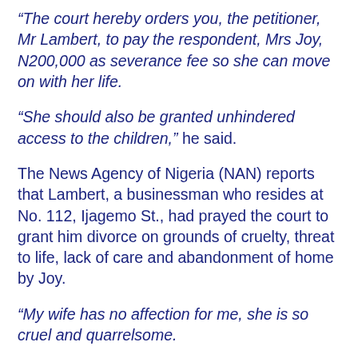“The court hereby orders you, the petitioner, Mr Lambert, to pay the respondent, Mrs Joy, N200,000 as severance fee so she can move on with her life.
“She should also be granted unhindered access to the children,” he said.
The News Agency of Nigeria (NAN) reports that Lambert, a businessman who resides at No. 112, Ijagemo St., had prayed the court to grant him divorce on grounds of cruelty, threat to life, lack of care and abandonment of home by Joy.
“My wife has no affection for me, she is so cruel and quarrelsome.
“She is abusive and rude, she is also very wicked to our three children as she beats them with iron rods at will.